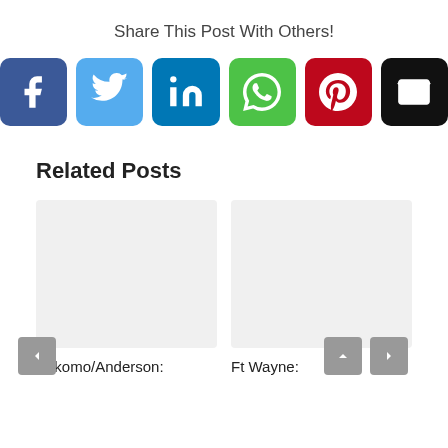Share This Post With Others!
[Figure (infographic): Row of 6 social share icon buttons: Facebook (dark blue), Twitter (light blue), LinkedIn (dark blue), WhatsApp (green), Pinterest (red), Email (black)]
Related Posts
[Figure (illustration): Two related post cards side by side with gray placeholder images. Left card shows 'Kokomo/Anderson:' label below. Right card shows 'Ft Wayne:' label below. Navigation arrows (left, up, right) are overlaid.]